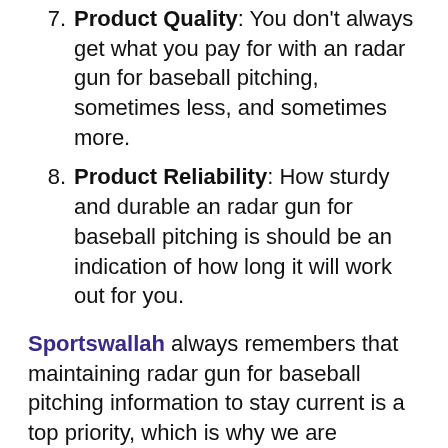7. Product Quality: You don't always get what you pay for with an radar gun for baseball pitching, sometimes less, and sometimes more.
8. Product Reliability: How sturdy and durable an radar gun for baseball pitching is should be an indication of how long it will work out for you.
Sportswallah always remembers that maintaining radar gun for baseball pitching information to stay current is a top priority, which is why we are constantly updating our websites. Learn more about us using online sources. If you think that anything we present here regarding radar gun for